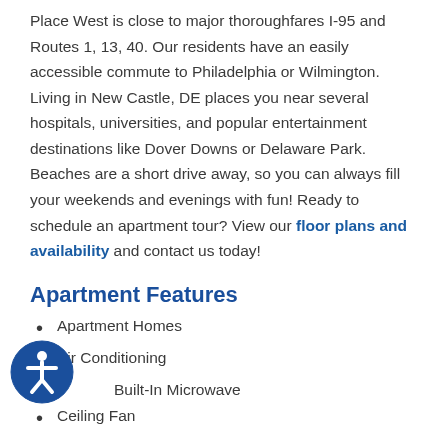Place West is close to major thoroughfares I-95 and Routes 1, 13, 40. Our residents have an easily accessible commute to Philadelphia or Wilmington. Living in New Castle, DE places you near several hospitals, universities, and popular entertainment destinations like Dover Downs or Delaware Park. Beaches are a short drive away, so you can always fill your weekends and evenings with fun! Ready to schedule an apartment tour? View our floor plans and availability and contact us today!
Apartment Features
Apartment Homes
Air Conditioning
Built-In Microwave
Ceiling Fan